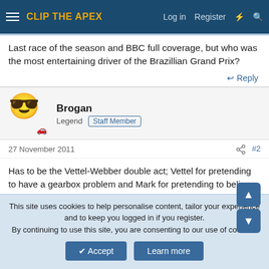CLIP THE APEX  Log in  Register
Last race of the season and BBC full coverage, but who was the most entertaining driver of the Brazillian Grand Prix?
Reply
Brogan
Legend  Staff Member
27 November 2011  #2
Has to be the Vettel-Webber double act; Vettel for pretending to have a gearbox problem and Mark for pretending to believe it.
Reply
This site uses cookies to help personalise content, tailor your experience and to keep you logged in if you register.
By continuing to use this site, you are consenting to our use of cookies.